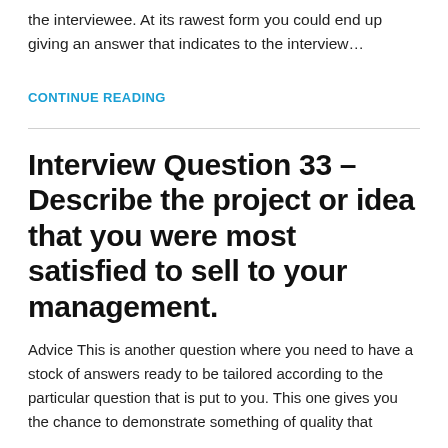the interviewee. At its rawest form you could end up giving an answer that indicates to the interview…
CONTINUE READING
Interview Question 33 – Describe the project or idea that you were most satisfied to sell to your management.
Advice This is another question where you need to have a stock of answers ready to be tailored according to the particular question that is put to you. This one gives you the chance to demonstrate something of quality that